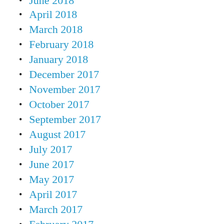June 2018
April 2018
March 2018
February 2018
January 2018
December 2017
November 2017
October 2017
September 2017
August 2017
July 2017
June 2017
May 2017
April 2017
March 2017
February 2017